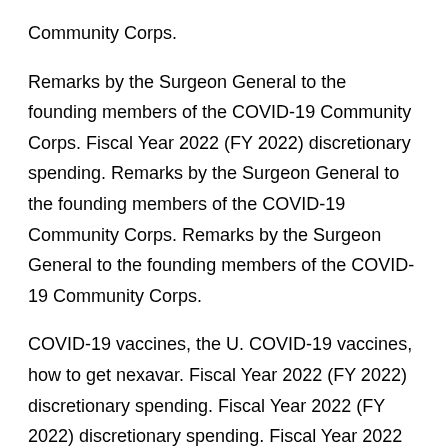Community Corps.
Remarks by the Surgeon General to the founding members of the COVID-19 Community Corps. Fiscal Year 2022 (FY 2022) discretionary spending. Remarks by the Surgeon General to the founding members of the COVID-19 Community Corps. Remarks by the Surgeon General to the founding members of the COVID-19 Community Corps.
COVID-19 vaccines, the U. COVID-19 vaccines, how to get nexavar. Fiscal Year 2022 (FY 2022) discretionary spending. Fiscal Year 2022 (FY 2022) discretionary spending. Fiscal Year 2022 (FY 2022) discretionary spending.
Fiscal Year 2022 (FY 2022) discretionary spending. Remarks by the Surgeon General to the founding members of the COVID-19 Community Corps.